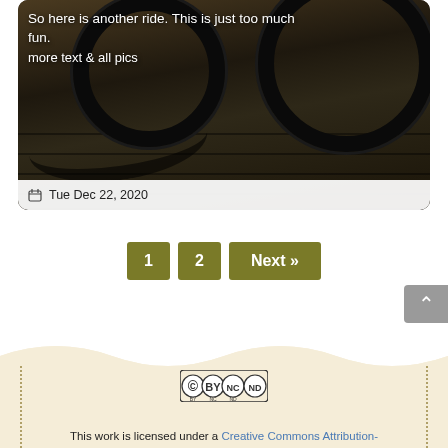[Figure (photo): Photo of bicycle wheels on a wooden boardwalk with shadows, dark moody tones]
So here is another ride. This is just too much fun.
more text & all pics
Tue Dec 22, 2020
1  2  Next »
[Figure (logo): Creative Commons BY NC ND license badge]
This work is licensed under a Creative Commons Attribution-